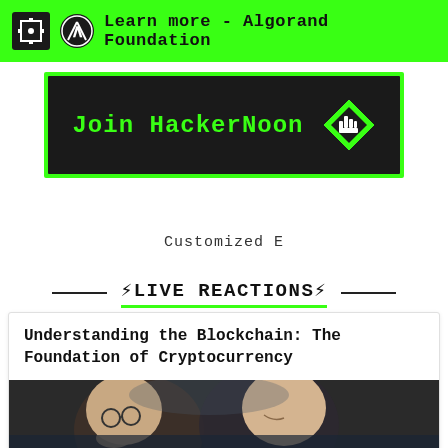Learn more – Algorand Foundation
[Figure (logo): Join HackerNoon banner with green border on dark background, featuring HackerNoon logo icon]
Customized E
⚡LIVE REACTIONS⚡
Understanding the Blockchain: The Foundation of Cryptocurrency
[Figure (photo): Two elderly men in distress, one wearing glasses, dramatic dark background]